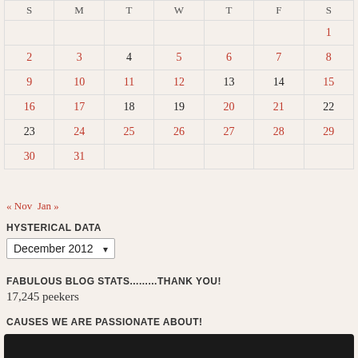| S | M | T | W | T | F | S |
| --- | --- | --- | --- | --- | --- | --- |
|  |  |  |  |  |  | 1 |
| 2 | 3 | 4 | 5 | 6 | 7 | 8 |
| 9 | 10 | 11 | 12 | 13 | 14 | 15 |
| 16 | 17 | 18 | 19 | 20 | 21 | 22 |
| 23 | 24 | 25 | 26 | 27 | 28 | 29 |
| 30 | 31 |  |  |  |  |  |
« Nov   Jan »
HYSTERICAL DATA
December 2012
FABULOUS BLOG STATS.........THANK YOU!
17,245 peekers
CAUSES WE ARE PASSIONATE ABOUT!
[Figure (photo): Dark rectangle at the bottom of the page]